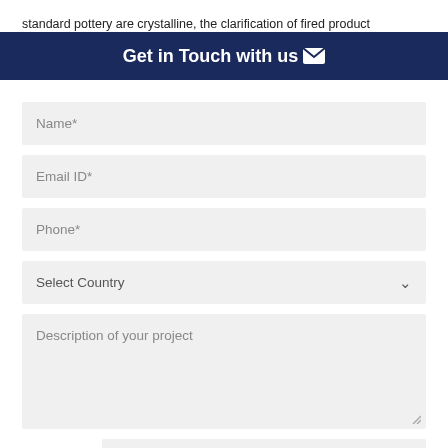standard pottery are crystalline, the clarification of fired product is frequently contrasted to nebulous crystalline materials, as
Get in Touch with us ✉
Name*
Email ID*
Phone*
Select Country
Description of your project
14 + 5   Answer :
SUBMIT